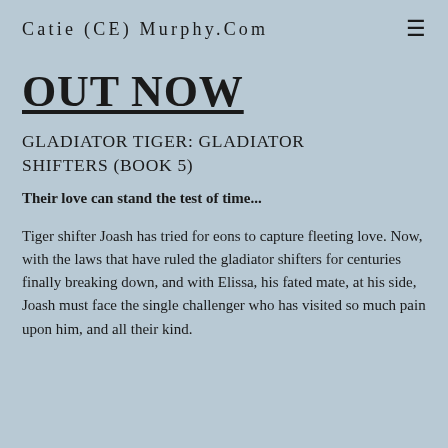Catie (CE) Murphy.Com
OUT NOW
GLADIATOR TIGER: GLADIATOR SHIFTERS (BOOK 5)
Their love can stand the test of time...
Tiger shifter Joash has tried for eons to capture fleeting love. Now, with the laws that have ruled the gladiator shifters for centuries finally breaking down, and with Elissa, his fated mate, at his side, Joash must face the single challenger who has visited so much pain upon him, and all their kind.